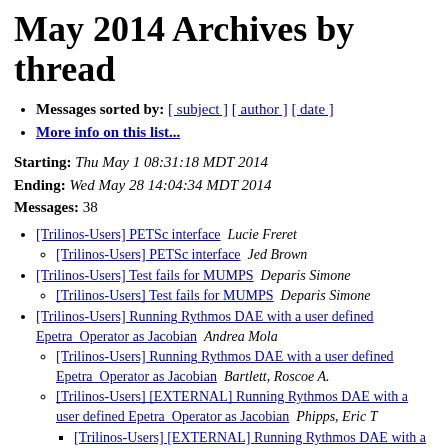May 2014 Archives by thread
Messages sorted by: [ subject ] [ author ] [ date ]
More info on this list...
Starting: Thu May 1 08:31:18 MDT 2014
Ending: Wed May 28 14:04:34 MDT 2014
Messages: 38
[Trilinos-Users] PETSc interface   Lucie Freret
[Trilinos-Users] PETSc interface   Jed Brown
[Trilinos-Users] Test fails for MUMPS   Deparis Simone
[Trilinos-Users] Test fails for MUMPS   Deparis Simone
[Trilinos-Users] Running Rythmos DAE with a user defined Epetra_Operator as Jacobian   Andrea Mola
[Trilinos-Users] Running Rythmos DAE with a user defined Epetra_Operator as Jacobian   Bartlett, Roscoe A.
[Trilinos-Users] [EXTERNAL] Running Rythmos DAE with a user defined Epetra_Operator as Jacobian   Phipps, Eric T
[Trilinos-Users] [EXTERNAL] Running Rythmos DAE with a user defined